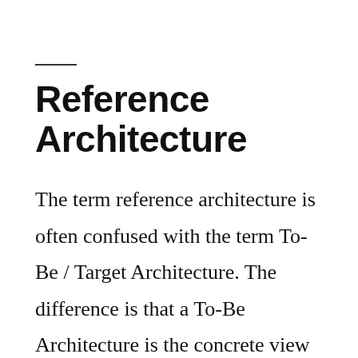Reference Architecture
The term reference architecture is often confused with the term To-Be / Target Architecture. The difference is that a To-Be Architecture is the concrete view of how a company wants to be in the future, while a reference architecture is a general reference